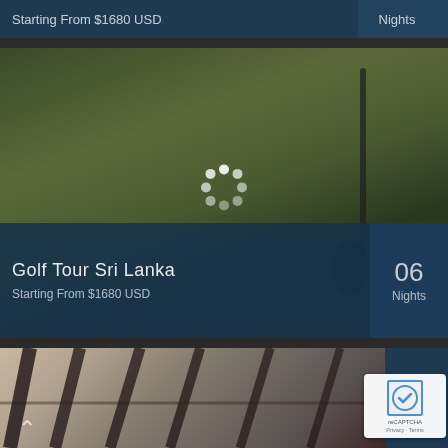Starting From $1680 USD
Nights
[Figure (photo): Golf course photo with golf club in foreground, loading spinner overlay, dark blue footer overlay showing Golf Tour Sri Lanka tour card]
Golf Tour Sri Lanka
Starting From $1680 USD
06
Nights
[Figure (photo): Partial view of interior space with wooden rafters/beams visible, bottom portion of a tour card with reCAPTCHA widget overlay]